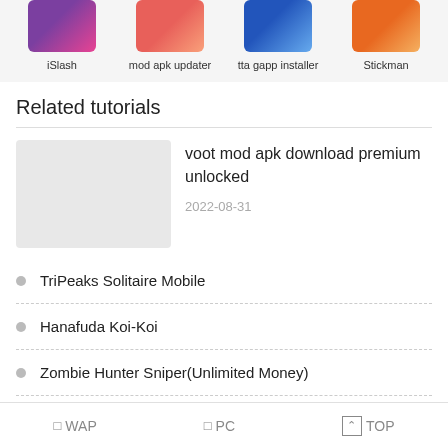[Figure (other): App thumbnails row: iSlash, mod apk updater, tta gapp installer, Stickman]
iSlash
mod apk updater
tta gapp installer
Stickman
Related tutorials
[Figure (other): Thumbnail placeholder (grey rectangle) for voot mod apk article]
voot mod apk download premium unlocked
2022-08-31
TriPeaks Solitaire Mobile
Hanafuda Koi-Koi
Zombie Hunter Sniper(Unlimited Money)
□WAP  □PC  ↑ TOP